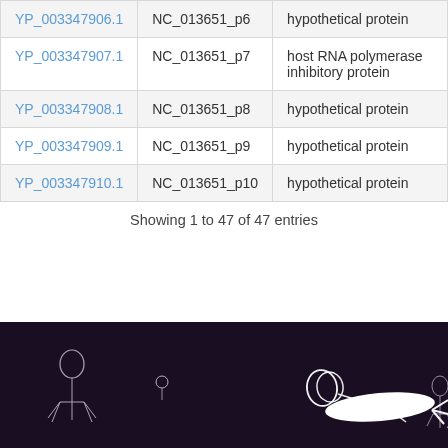| Protein ID | Gene | Description |
| --- | --- | --- |
| YP_003347906.1 | NC_013651_p6 | hypothetical protein |
| YP_003347907.1 | NC_013651_p7 | host RNA polymerase inhibitory protein |
| YP_003347908.1 | NC_013651_p8 | hypothetical protein |
| YP_003347909.1 | NC_013651_p9 | hypothetical protein |
| YP_003347910.1 | NC_013651_p10 | hypothetical protein |
Showing 1 to 47 of 47 entries
[Figure (illustration): Dark purple/black footer banner with white outline illustrations of bacteriophage particles of various sizes and orientations]